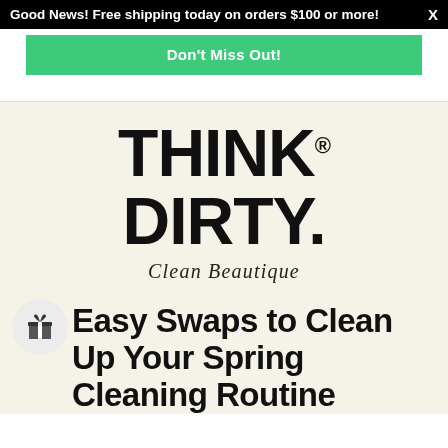Good News! Free shipping today on orders $100 or more! X
Don't Miss Out!
[Figure (logo): Think Dirty Clean Beautique logo — large bold black text 'THINK DIRTY.' with italic script 'Clean Beautique' below, on a cream background]
Easy Swaps to Clean Up Your Spring Cleaning Routine